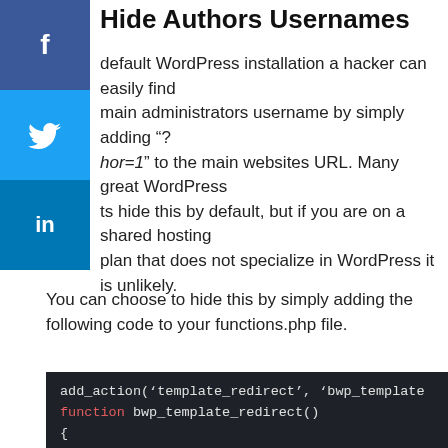Hide Authors Usernames
In a default WordPress installation a hacker can easily find the main administrators username by simply adding "?author=1" to the main websites URL. Many great WordPress hosts hide this by default, but if you are on a shared hosting plan that does not specialize in WordPress it is unlikely.
You can choose to hide this by simply adding the following code to your functions.php file.
[Figure (screenshot): Code block on dark background showing PHP code: add_action('template_redirect', 'bwp_template_redirect'); function bwp_template_redirect() { if (is_author()) { wp_redirect( home_url() ); exit; } }]